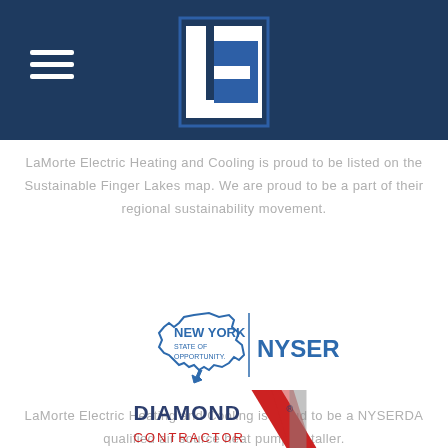[Figure (logo): LaMorte Electric LE logo in dark navy header bar with hamburger menu icon on left]
LaMorte Electric Heating and Cooling is proud to be listed on the Sustainable Finger Lakes map. We are proud to be a part of their regional sustainability movement.
[Figure (logo): New York State of Opportunity NYSERDA logo]
LaMorte Electric Heating and Cooling is proud to be a NYSERDA qualified air source heat pump installer.
[Figure (logo): Diamond Contractor logo with red chevron/stripe graphic]